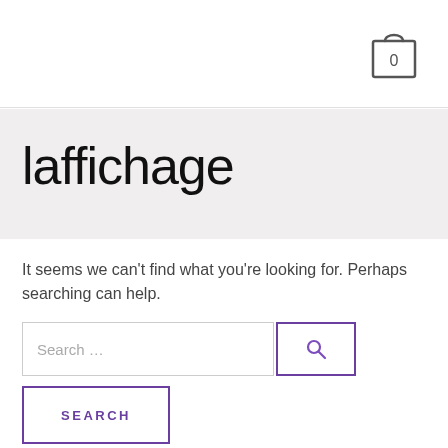[Figure (other): Shopping cart icon with number 0 inside, top-right corner of header]
laffichage
It seems we can't find what you're looking for. Perhaps searching can help.
[Figure (other): Search input field with placeholder 'Search ...' and a magnifying glass icon button, plus a SEARCH button below]